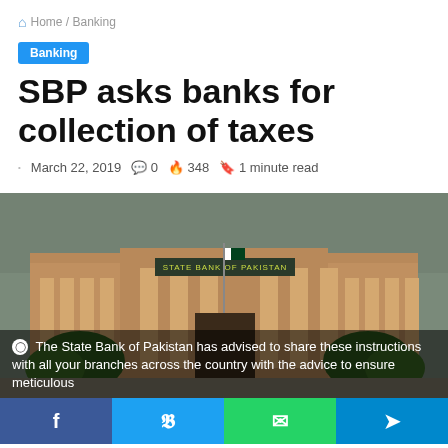🏠 Home / Banking
Banking
SBP asks banks for collection of taxes
March 22, 2019  💬 0  🔥 348  📖 1 minute read
[Figure (photo): Exterior photograph of the State Bank of Pakistan building, a large classical colonial-style sandstone structure with pillars and a sign reading 'STATE BANK OF PAKISTAN', with green trees and a Pakistan flag visible.]
The State Bank of Pakistan has advised to share these instructions with all your branches across the country with the advice to ensure meticulous